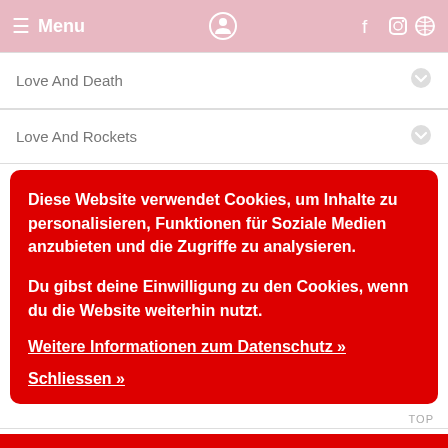Menu
Love And Death
Love And Rockets
Diese Website verwendet Cookies, um Inhalte zu personalisieren, Funktionen für Soziale Medien anzubieten und die Zugriffe zu analysieren.

Du gibst deine Einwilligung zu den Cookies, wenn du die Website weiterhin nutzt.

Weitere Informationen zum Datenschutz »

Schliessen »
Love Spit Love